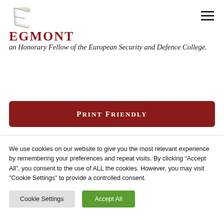EGMONT
an Honorary Fellow of the European Security and Defence College.
PRINT FRIENDLY
We use cookies on our website to give you the most relevant experience by remembering your preferences and repeat visits. By clicking “Accept All”, you consent to the use of ALL the cookies. However, you may visit "Cookie Settings" to provide a controlled consent.
Cookie Settings
Accept All